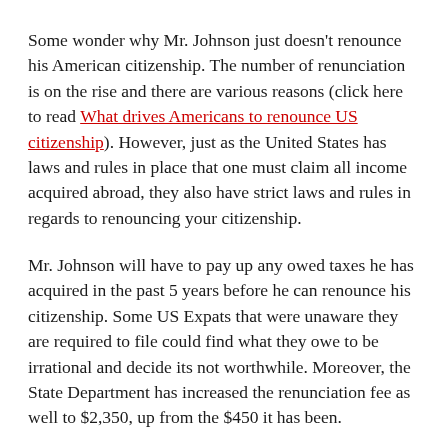Some wonder why Mr. Johnson just doesn't renounce his American citizenship. The number of renunciation is on the rise and there are various reasons (click here to read What drives Americans to renounce US citizenship). However, just as the United States has laws and rules in place that one must claim all income acquired abroad, they also have strict laws and rules in regards to renouncing your citizenship.
Mr. Johnson will have to pay up any owed taxes he has acquired in the past 5 years before he can renounce his citizenship. Some US Expats that were unaware they are required to file could find what they owe to be irrational and decide its not worthwhile. Moreover, the State Department has increased the renunciation fee as well to $2,350, up from the $450 it has been.
Boris Johnson is only one of millions of US Expats living abroad that might owe the United States Federal taxes. It is estimated that of the almost 8 million Americans that live abroad, probably half